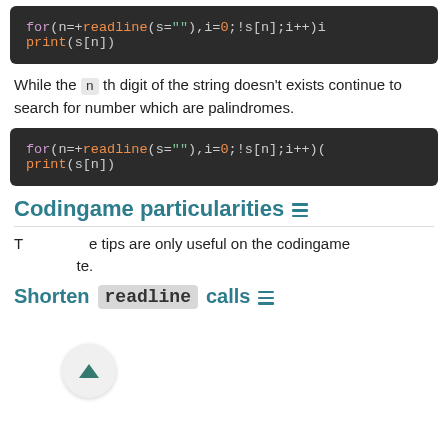[Figure (screenshot): Code block showing: for(n=+readline(s=""),i=0;!s[n];i++) and print(s[n])]
While the n th digit of the string doesn't exists continue to search for number which are palindromes.
[Figure (screenshot): Code block showing: for(n=+readline(s=""),i=0;!s[n];i++)( and print(s[n])]
Codingame particularities
These tips are only useful on the codingame website.
Shorten readline calls